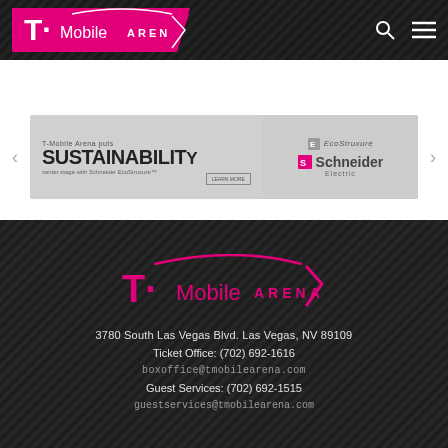[Figure (logo): T-Mobile Arena header logo and navigation bar with search and menu icons on dark striped background]
[Figure (screenshot): Banner/carousel slide showing T-Mobile Arena Sustainability with Schneider EcoStruxure branding, with left and right navigation arrows]
3780 South Las Vegas Blvd. Las Vegas, NV 89109
Ticket Office: (702) 692-1616
boxoffice@tmobilearena.com
Guest Services: (702) 692-1515
guestservices@tmobilearena.com